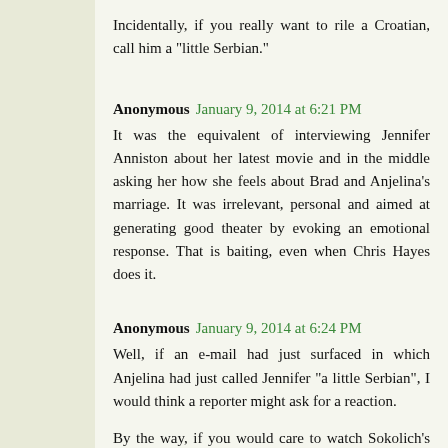Incidentally, if you really want to rile a Croatian, call him a "little Serbian."
Anonymous  January 9, 2014 at 6:21 PM
It was the equivalent of interviewing Jennifer Anniston about her latest movie and in the middle asking her how she feels about Brad and Anjelina's marriage. It was irrelevant, personal and aimed at generating good theater by evoking an emotional response. That is baiting, even when Chris Hayes does it.
Anonymous  January 9, 2014 at 6:24 PM
Well, if an e-mail had just surfaced in which Anjelina had just called Jennifer "a little Serbian", I would think a reporter might ask for a reaction.
By the way, if you would care to watch Sokolich's interviews with both Blitzer and Hayes, you might